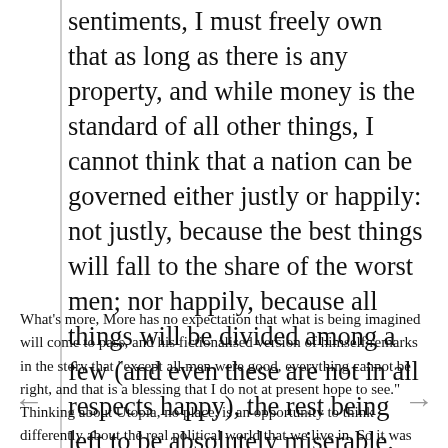sentiments, I must freely own that as long as there is any property, and while money is the standard of all other things, I cannot think that a nation can be governed either justly or happily: not justly, because the best things will fall to the share of the worst men; nor happily, because all things will be divided among a few (and even these are not in all respects happy), the rest being left to be absolutely miserable.
What's more, More has no expectation that what is being imagined will come to pass, and his fictionalised version of himself remarks in the story that "except all men were good, everything cannot be right, and that is a blessing that I do not at present hope to see." Thinking about Utopia, no place, is an opportunity to think differently about the real political world that we live in. So it was for